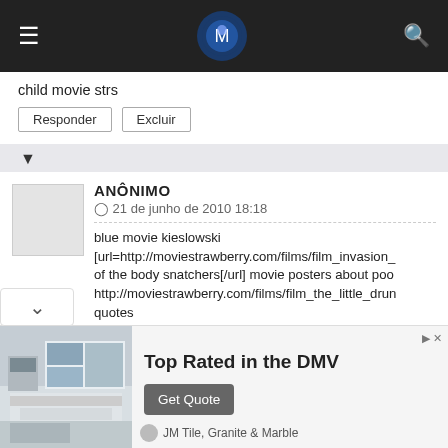≡  [logo]  🔍
child movie strs
Responder   Excluir
▼
ANÔNIMO
⊙ 21 de junho de 2010 18:18
blue movie kieslowski [url=http://moviestrawberry.com/films/film_invasion_ of the body snatchers[/url] movie posters about poo http://moviestrawberry.com/films/film_the_little_drun quotes
naruto movie biography [url=http://moviestrawberry.com/films/film_agent_co ruby cairo movie http://moviestrawberry.com/films/fi whitby movie listings
ruby cairo movie [url=http://moviestrawberry.com/film
Top Rated in the DMV
Get Quote
JM Tile, Granite & Marble